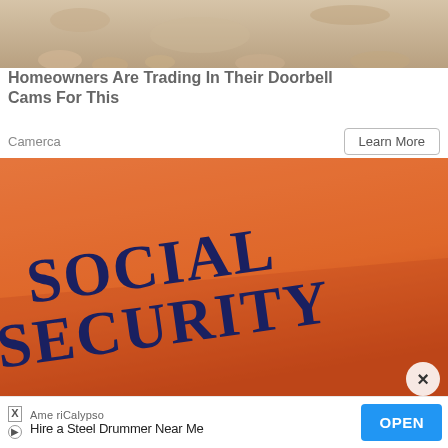[Figure (photo): Top partial image of a doorbell camera or similar home device, sandy/stone background]
Homeowners Are Trading In Their Doorbell Cams For This
Camerca
Learn More
[Figure (photo): Photo of an orange/terracotta wall with dark navy blue text reading 'SOCIAL SECURITY' in large serif letters]
×
Ame riCalypso
Hire a Steel Drummer Near Me
OPEN